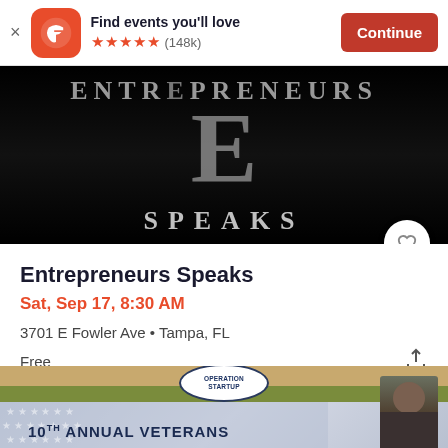Find events you'll love ★★★★★ (148k) Continue
[Figure (screenshot): Black background event banner showing 'ENTREPRENEURS' text and large letter E with 'SPEAKS' at the bottom, styled like a logo/poster]
Entrepreneurs Speaks
Sat, Sep 17, 8:30 AM
3701 E Fowler Ave • Tampa, FL
Free
[Figure (photo): Operation Startup badge with 10th Annual Veterans banner and photo of a man]